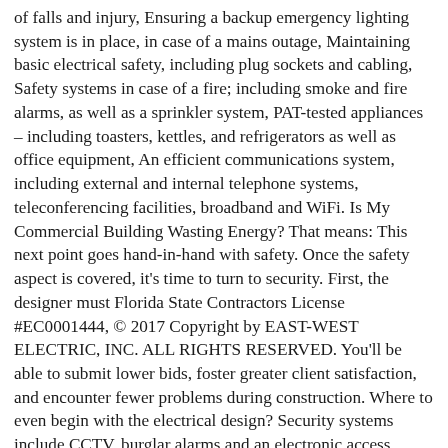of falls and injury, Ensuring a backup emergency lighting system is in place, in case of a mains outage, Maintaining basic electrical safety, including plug sockets and cabling, Safety systems in case of a fire; including smoke and fire alarms, as well as a sprinkler system, PAT-tested appliances – including toasters, kettles, and refrigerators as well as office equipment, An efficient communications system, including external and internal telephone systems, teleconferencing facilities, broadband and WiFi. Is My Commercial Building Wasting Energy? That means: This next point goes hand-in-hand with safety. Once the safety aspect is covered, it's time to turn to security. First, the designer must Florida State Contractors License #EC0001444, © 2017 Copyright by EAST-WEST ELECTRIC, INC. ALL RIGHTS RESERVED. You'll be able to submit lower bids, foster greater client satisfaction, and encounter fewer problems during construction. Where to even begin with the electrical design? Security systems include CCTV, burglar alarms and an electronic access system. electrical design guide for commercial buildings Oct 09, 2020 Posted By Dan Brown Library TEXT ID 648aed21 Online PDF Ebook Epub Library headquarters and comments from the industry the energy commission expresses its gratitude to all those to specify and design facility electrical … But there are some common factors for all commercial properties that fall into five categories. 10 Electrical Safety Recommendations for Commercial Buildings, A Guide to Electrical Design for Commercial Buildings,